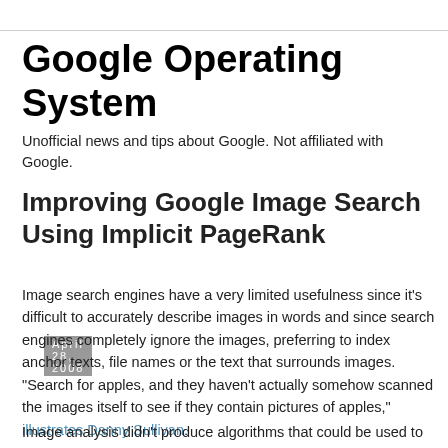Google Operating System
Unofficial news and tips about Google. Not affiliated with Google.
April 28, 2008
Improving Google Image Search Using Implicit PageRank
Image search engines have a very limited usefulness since it's difficult to accurately describe images in words and since search engines completely ignore the images, preferring to index anchor texts, file names or the text that surrounds images. "Search for apples, and they haven't actually somehow scanned the images itself to see if they contain pictures of apples," illustrates Danny Sullivan.
Image analysis didn't produce algorithms that could be used to process billions of images in a scalable way. "While